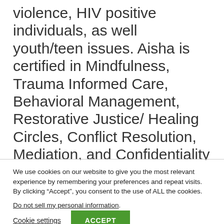violence, HIV positive individuals, as well youth/teen issues. Aisha is certified in Mindfulness, Trauma Informed Care, Behavioral Management, Restorative Justice/ Healing Circles, Conflict Resolution, Mediation, and Confidentiality & Security. Aisha is also a Certified Life Coach, and Relationship Workshop facilitator. Aisha has a part-time Life
We use cookies on our website to give you the most relevant experience by remembering your preferences and repeat visits. By clicking “Accept”, you consent to the use of ALL the cookies.
Do not sell my personal information.
Cookie settings
ACCEPT